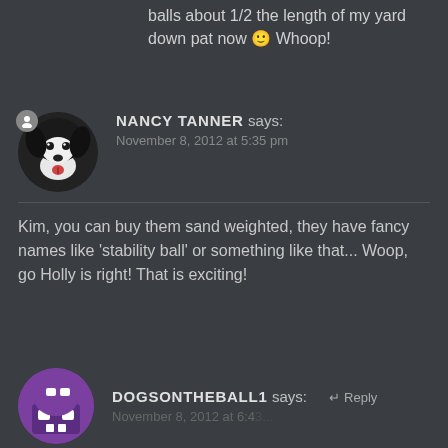balls about 1/2 the length of my yard down pat now 🙂 Whoop!
NANCY TANNER says:
November 8, 2012 at 5:35 pm

Kim, you can buy them sand weighted, they have fancy names like 'stability ball' or something like that... Woop, go Holly is right! That is exciting!
DOGSONTHEBALL1 says: ↵ Reply
November 8, 2012 at 6:43...